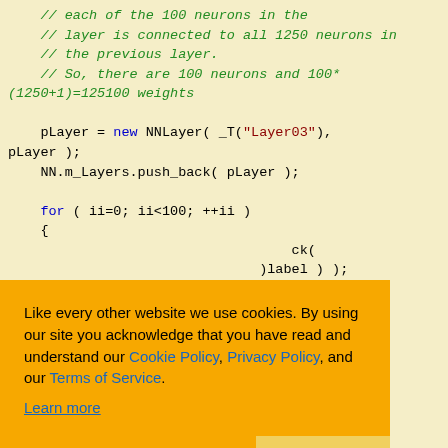// each of the 100 neurons in the
    // layer is connected to all 1250 neurons in
    // the previous layer.
    // So, there are 100 neurons and 100*(1250+1)=125100 weights

    pLayer = new NNLayer( _T("Layer03"),
pLayer );
    NN.m_Layers.push_back( pLayer );

    for ( ii=0; ii<100; ++ii )
    {
                                           ck(
                                       )label ) );



                                               ious layer:

    iNumWeight = 0;  // weights are not shared
Like every other website we use cookies. By using our site you acknowledge that you have read and understand our Cookie Policy, Privacy Policy, and our Terms of Service.
Learn more
Ask me later
Decline
Allow cookies